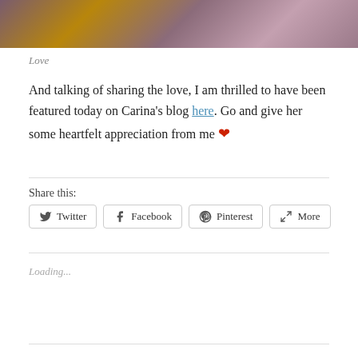[Figure (photo): Decorative floral/botanical image with purple, mauve, and gold tones at the top of the page]
Love
And talking of sharing the love, I am thrilled to have been featured today on Carina’s blog here. Go and give her some heartfelt appreciation from me ❤
Share this:
Twitter  Facebook  Pinterest  More
Loading...